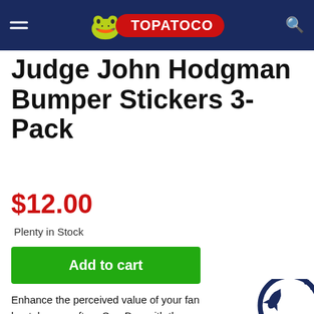TOPATOCO
Judge John Hodgman Bumper Stickers 3-Pack
$12.00
Plenty in Stock
Add to cart
Enhance the perceived value of your fan boat, hovercraft, or Sea-Doo with these attractive bumper stickers! 11.5" x 3" on
[Figure (illustration): Rocket ship illustration in navy blue, circular badge style]